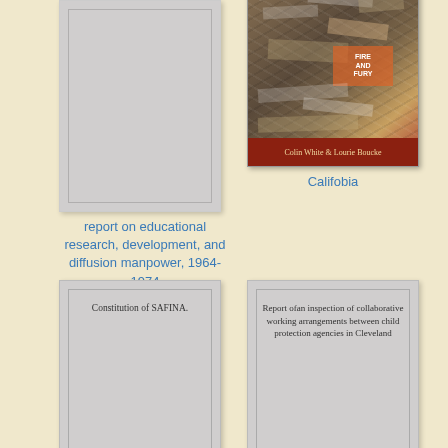[Figure (illustration): Placeholder book cover with no image (gray rectangle with inner border)]
report on educational research, development, and diffusion manpower, 1964-1974
[Figure (photo): Book cover of 'Califobia' by Colin White & Lourie Boucke, showing a collage of newspaper clippings and images, with a dark red bottom bar showing the authors' names]
Califobia
[Figure (illustration): Placeholder book cover showing 'Constitution of SAFINA.' text on gray background with inner border]
Constitution of SAFINA.
[Figure (illustration): Placeholder book cover showing 'Report ofan inspection of collaborative working arrangements between child protection agencies in Cleveland' text on gray background]
Report ofan inspection of collaborative working arrangements between